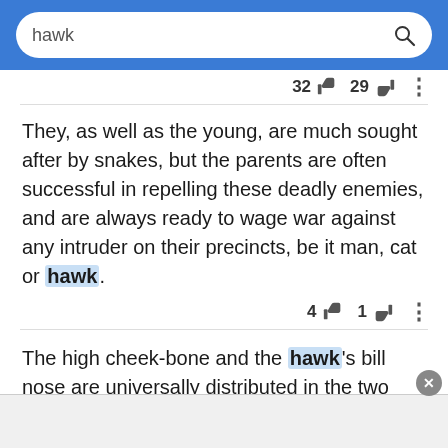hawk [search bar]
32  29
They, as well as the young, are much sought after by snakes, but the parents are often successful in repelling these deadly enemies, and are always ready to wage war against any intruder on their precincts, be it man, cat or hawk.
4  1
The high cheek-bone and the hawk's bill nose are universally distributed in the two Americas; so also are proportions between parts of the body, and the frequency of certain abnormalities of the skull, the